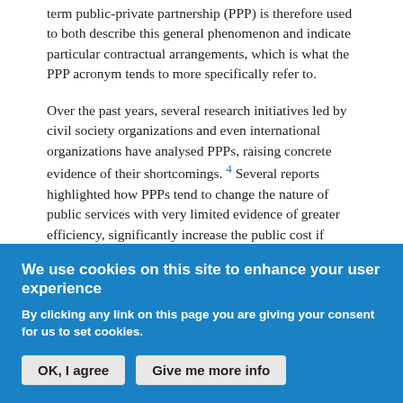term public-private partnership (PPP) is therefore used to both describe this general phenomenon and indicate particular contractual arrangements, which is what the PPP acronym tends to more specifically refer to.
Over the past years, several research initiatives led by civil society organizations and even international organizations have analysed PPPs, raising concrete evidence of their shortcomings. 4 Several reports highlighted how PPPs tend to change the nature of public services with very limited evidence of greater efficiency, significantly increase the public cost if compared to public procurement, offer higher risks than public investments that are almost entirely socialized and
We use cookies on this site to enhance your user experience
By clicking any link on this page you are giving your consent for us to set cookies.